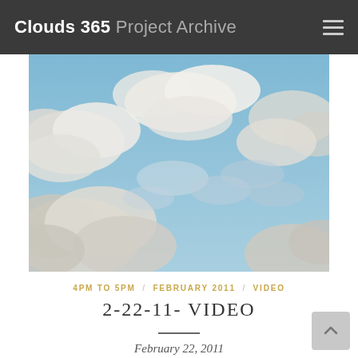Clouds 365 Project Archive
[Figure (photo): Sky photograph with blue sky and scattered white and grey clouds, taken in afternoon light.]
4PM TO 5PM / FEBRUARY 2011 / VIDEO
2-22-11- VIDEO
February 22, 2011